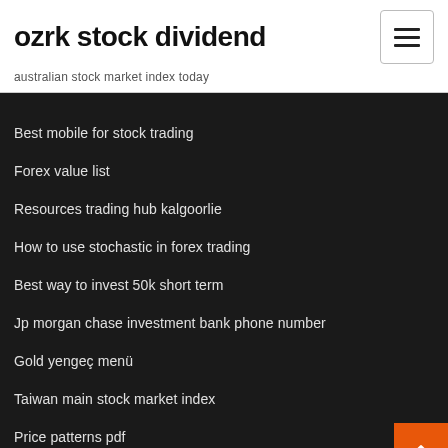ozrk stock dividend
australian stock market index today
Best mobile for stock trading
Forex value list
Resources trading hub kalgoorlie
How to use stochastic in forex trading
Best way to invest 50k short term
Jp morgan chase investment bank phone number
Gold yengeç menü
Taiwan main stock market index
Price patterns pdf
Fidelity investments stock screener